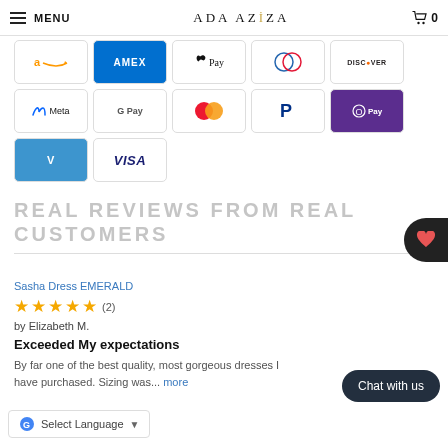MENU  ADA AZIZA  0
[Figure (logo): Payment method icons: Amazon, AMEX, Apple Pay, Diners Club, Discover, Meta, Google Pay, Mastercard, PayPal, Samsung Pay, Venmo, Visa]
REAL REVIEWS FROM REAL CUSTOMERS
Sasha Dress EMERALD
★★★★★ (2)
by Elizabeth M.
Exceeded My expectations
By far one of the best quality, most gorgeous dresses I have purchased. Sizing was... more